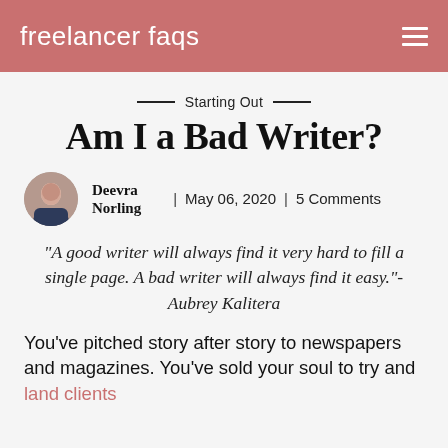freelancer faqs
Starting Out
Am I a Bad Writer?
Deevra Norling | May 06, 2020 | 5 Comments
“A good writer will always find it very hard to fill a single page. A bad writer will always find it easy.”- Aubrey Kalitera
You’ve pitched story after story to newspapers and magazines. You’ve sold your soul to try and land clients